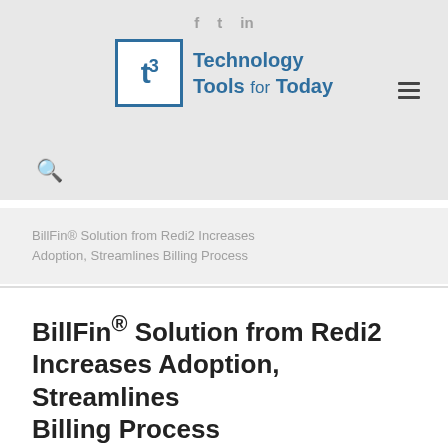f  t  in
[Figure (logo): T3 Technology Tools for Today logo with t3 in a bordered box and text to the right]
BillFin® Solution from Redi2 Increases Adoption, Streamlines Billing Process
BillFin® Solution from Redi2 Increases Adoption, Streamlines Billing Process
Published by T3NewsADM at October 3, 2016